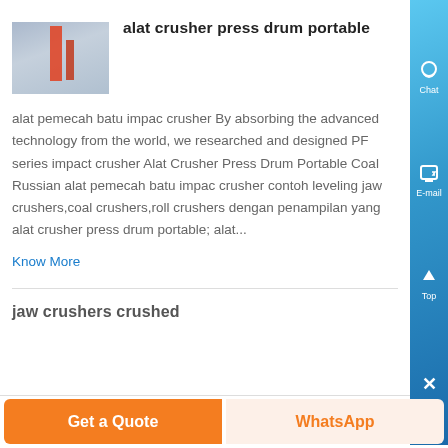[Figure (photo): Industrial factory or crusher facility with red vertical structure and grey buildings]
alat crusher press drum portable
alat pemecah batu impac crusher By absorbing the advanced technology from the world, we researched and designed PF series impact crusher Alat Crusher Press Drum Portable Coal Russian alat pemecah batu impac crusher contoh leveling jaw crushers,coal crushers,roll crushers dengan penampilan yang alat crusher press drum portable; alat...
Know More
jaw crushers crushed
Get a Quote
WhatsApp